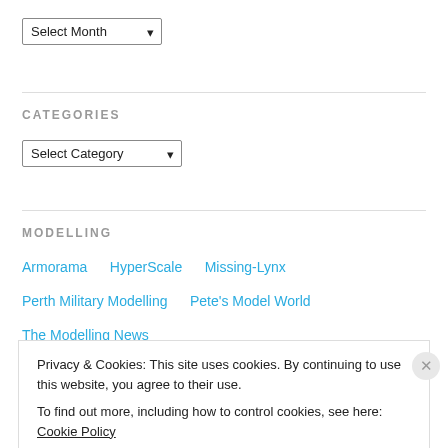[Figure (screenshot): Select Month dropdown widget]
CATEGORIES
[Figure (screenshot): Select Category dropdown widget]
MODELLING
Armorama
HyperScale
Missing-Lynx
Perth Military Modelling
Pete's Model World
The Modelling News
Privacy & Cookies: This site uses cookies. By continuing to use this website, you agree to their use.
To find out more, including how to control cookies, see here: Cookie Policy
Close and accept